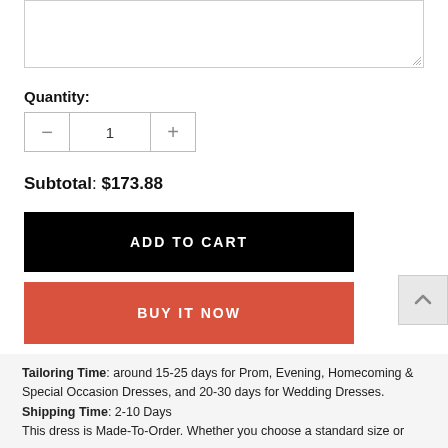[Figure (screenshot): Text area input box with resize handle at bottom right]
Quantity:
[Figure (other): Quantity selector with minus button, value 1, and plus button]
Subtotal: $173.88
ADD TO CART
BUY IT NOW
[Figure (other): Back to top button with upward chevron arrow]
Tailoring Time: around 15-25 days for Prom, Evening, Homecoming & Special Occasion Dresses, and 20-30 days for Wedding Dresses. Shipping Time: 2-10 Days This dress is Made-To-Order. Whether you choose a standard size or